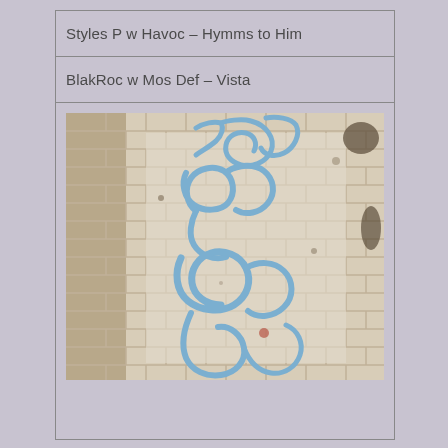Styles P w Havoc – Hymms to Him
BlakRoc w Mos Def – Vista
[Figure (photo): Photograph of a brick wall with blue graffiti spray-painted on it. The graffiti consists of flowing cursive-style lettering in blue paint on a lighter section of the brick wall.]